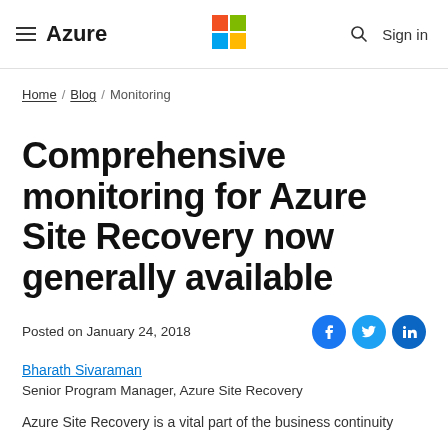Azure (Microsoft logo) Sign in
Home / Blog / Monitoring
Comprehensive monitoring for Azure Site Recovery now generally available
Posted on January 24, 2018
Bharath Sivaraman
Senior Program Manager, Azure Site Recovery
Azure Site Recovery is a vital part of the business continuity